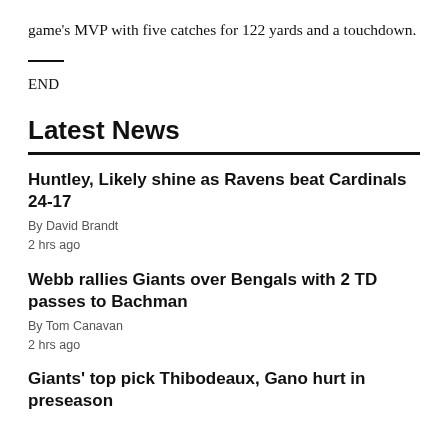game's MVP with five catches for 122 yards and a touchdown.
END
Latest News
Huntley, Likely shine as Ravens beat Cardinals 24-17
By David Brandt
2 hrs ago
Webb rallies Giants over Bengals with 2 TD passes to Bachman
By Tom Canavan
2 hrs ago
Giants' top pick Thibodeaux, Gano hurt in preseason